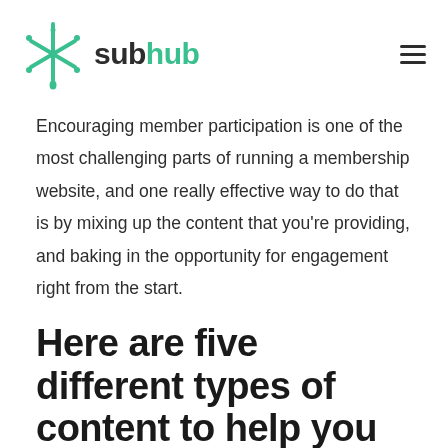subhub
Encouraging member participation is one of the most challenging parts of running a membership website, and one really effective way to do that is by mixing up the content that you're providing, and baking in the opportunity for engagement right from the start.
Here are five different types of content to help you keep your membership website